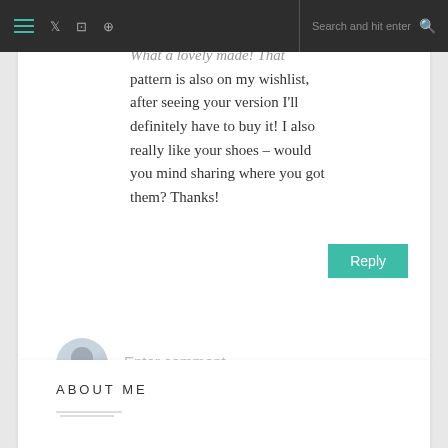Navigation bar with hamburger menu, social icons (Twitter, Instagram, Pinterest), search field
pattern is also on my wishlist, after seeing your version I'll definitely have to buy it! I also really like your shoes – would you mind sharing where you got them? Thanks!
Reply
Enter comment
ABOUT ME